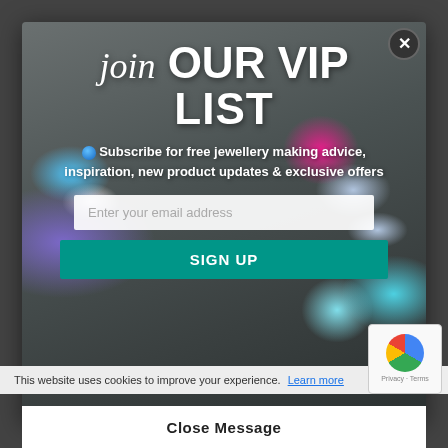[Figure (photo): Popup modal overlay showing a jewellery-making themed background with gemstones, necklaces, and crafting tools on a dark grey surface. Contains a VIP list signup form.]
join OUR VIP LIST
Subscribe for free jewellery making advice, inspiration, new product updates & exclusive offers
Enter your email address
SIGN UP
This website uses cookies to improve your experience. Learn more
Privacy - Terms
Close Message